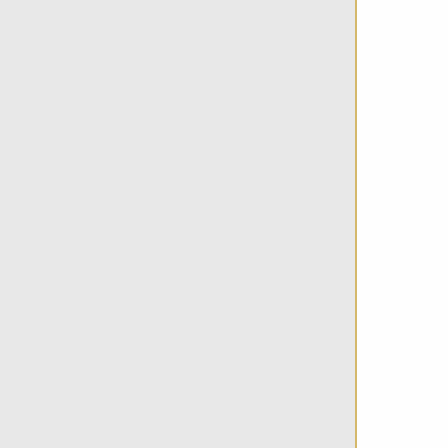causing picture freezes on digital TV. Prefer [[metal]] cased devices that offer better screening from external interference.
TV signals are broadcast with either horizontal or vertical polarization